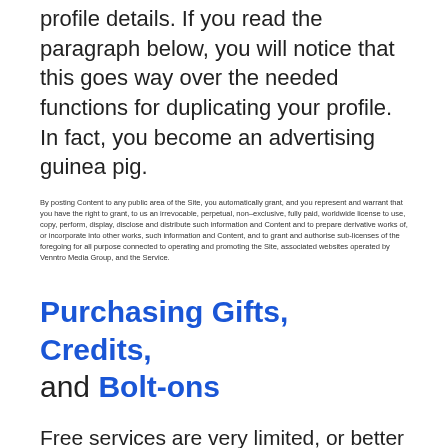profile details. If you read the paragraph below, you will notice that this goes way over the needed functions for duplicating your profile. In fact, you become an advertising guinea pig.
By posting Content to any public area of the Site, you automatically grant, and you represent and warrant that you have the right to grant, to us an irrevocable, perpetual, non-exclusive, fully paid, worldwide license to use, copy, perform, display, disclose and distribute such information and Content and to prepare derivative works of, or incorporate into other works, such information and Content, and to grant and authorise sub-licenses of the foregoing for all purpose connected to operating and promoting the Site, associated websites operated by Venntro Media Group, and the Service.
Purchasing Gifts, Credits, and Bolt-ons
Free services are very limited, or better to say, downright impossible to make some use of them. Free members “can only look, but must not touch”. To translate the phrase, you need to buy some of these extra services to